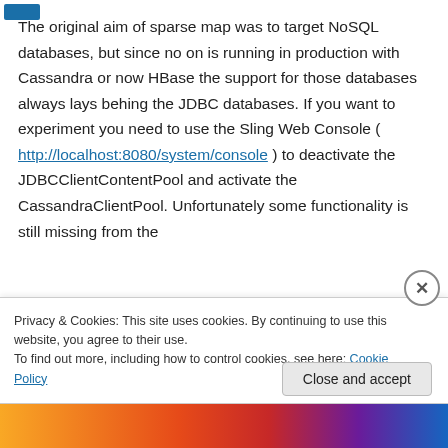The original aim of sparse map was to target NoSQL databases, but since no on is running in production with Cassandra or now HBase the support for those databases always lays behing the JDBC databases. If you want to experiment you need to use the Sling Web Console ( http://localhost:8080/system/console ) to deactivate the JDBCClientContentPool and activate the CassandraClientPool. Unfortunately some functionality is still missing from the
Privacy & Cookies: This site uses cookies. By continuing to use this website, you agree to their use.
To find out more, including how to control cookies, see here: Cookie Policy
Close and accept